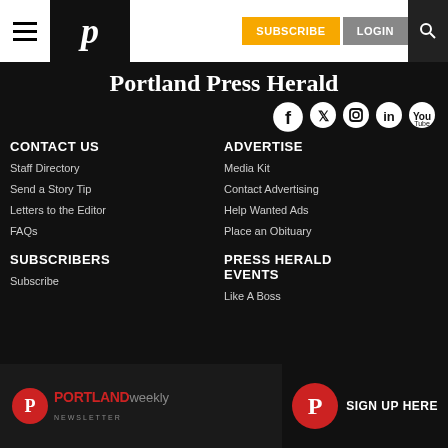Portland Press Herald navigation bar with hamburger menu, logo, SUBSCRIBE and LOGIN buttons, and search icon
Portland Press Herald
[Figure (logo): Social media icons: Facebook, Twitter, Instagram, LinkedIn, YouTube]
CONTACT US
ADVERTISE
Staff Directory
Media Kit
Send a Story Tip
Contact Advertising
Letters to the Editor
Help Wanted Ads
FAQs
Place an Obituary
SUBSCRIBERS
PRESS HERALD EVENTS
Subscribe
Like A Boss
[Figure (infographic): Portland Weekly Newsletter advertisement banner with sign up here button]